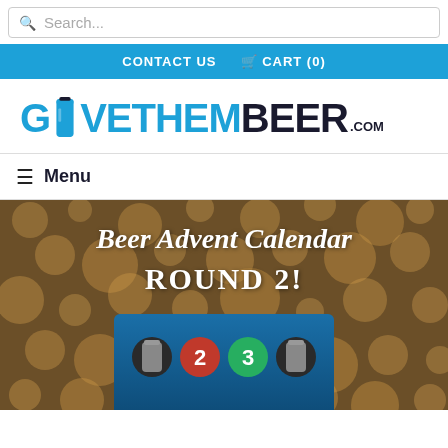Search...
CONTACT US   CART (0)
[Figure (logo): GIVETHEMBEER.COM logo in blue and dark text with a beer can replacing the letter I]
≡ Menu
[Figure (photo): Beer Advent Calendar ROUND 2! promotional image with bokeh lights background and advent calendar box with beer cans at bottom]